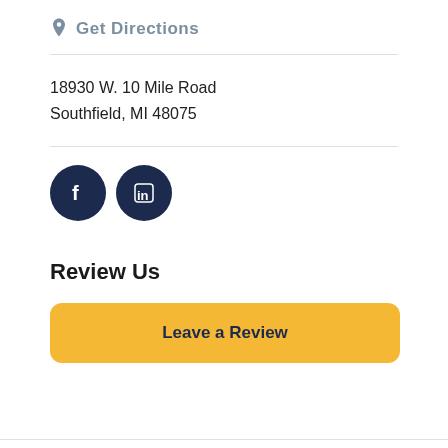Get Directions
18930 W. 10 Mile Road
Southfield, MI 48075
[Figure (illustration): Facebook and LinkedIn social media icon circles in dark navy blue]
Review Us
Leave a Review